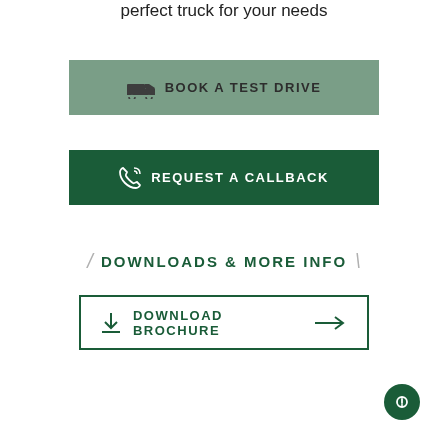perfect truck for your needs
[Figure (other): Button: Book a Test Drive with truck icon, sage green background]
[Figure (other): Button: Request a Callback with phone icon, dark green background]
DOWNLOADS & MORE INFO
[Figure (other): Button: Download Brochure with download icon and arrow, outlined dark green border]